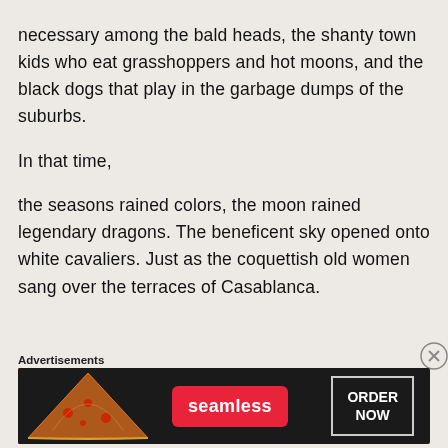necessary among the bald heads, the shanty town kids who eat grasshoppers and hot moons, and the black dogs that play in the garbage dumps of the suburbs.

In that time,

the seasons rained colors, the moon rained legendary dragons. The beneficent sky opened onto white cavaliers. Just as the coquettish old women sang over the terraces of Casablanca.
Advertisements
[Figure (other): Seamless food delivery advertisement banner with pizza image on left, red Seamless logo in center, and 'ORDER NOW' button in white border on dark background]